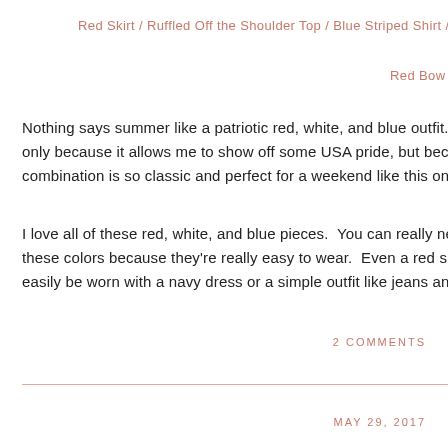Red Skirt / Ruffled Off the Shoulder Top / Blue Striped Shirt / Re…
Red Bow Top / Swimsuit / Striped Top / G…
Nothing says summer like a patriotic red, white, and blue outfit.  For n only because it allows me to show off some USA pride, but because combination is so classic and perfect for a weekend like this one as
I love all of these red, white, and blue pieces.  You can really never g these colors because they're really easy to wear.  Even a red shoe, t easily be worn with a navy dress or a simple outfit like jeans and a w
2 COMMENTS
MAY 29, 2017